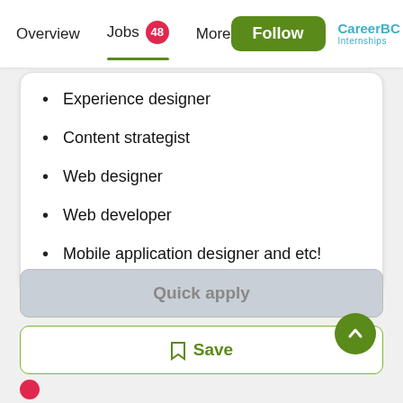Overview  Jobs 48  More  Follow  CareerBC Internships
Experience designer
Content strategist
Web designer
Web developer
Mobile application designer and etc!
Quick apply
Save